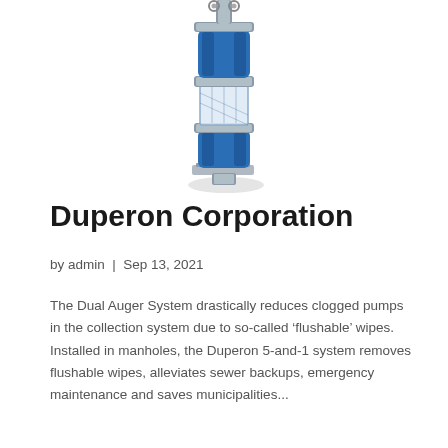[Figure (photo): Industrial pump unit – Duperon Dual Auger System. A tall vertical device with blue cylindrical segments connected by silver metallic hardware, with mounting eyes at the top and a flat base plate at the bottom. The unit appears to be a multi-stage pump or auger assembly.]
Duperon Corporation
by admin | Sep 13, 2021
The Dual Auger System drastically reduces clogged pumps in the collection system due to so-called 'flushable' wipes. Installed in manholes, the Duperon 5-and-1 system removes flushable wipes, alleviates sewer backups, emergency maintenance and saves municipalities...